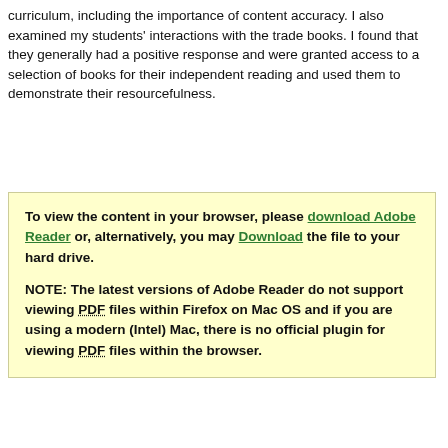curriculum, including the importance of content accuracy. I also examined my students' interactions with the trade books. I found that they generally had a positive response and were granted access to a selection of books for their independent reading and used them to demonstrate their resourcefulness.
To view the content in your browser, please download Adobe Reader or, alternatively, you may Download the file to your hard drive.

NOTE: The latest versions of Adobe Reader do not support viewing PDF files within Firefox on Mac OS and if you are using a modern (Intel) Mac, there is no official plugin for viewing PDF files within the browser.